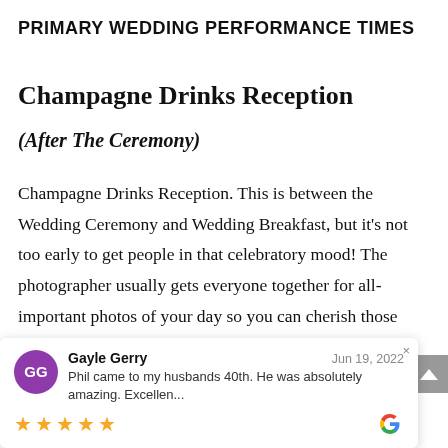PRIMARY WEDDING PERFORMANCE TIMES
Champagne Drinks Reception
(After The Ceremony)
Champagne Drinks Reception. This is between the Wedding Ceremony and Wedding Breakfast, but it’s not too early to get people in that celebratory mood! The photographer usually gets everyone together for all-important photos of your day so you can cherish those moments nd their n. That’s d mingle
[Figure (other): Review card overlay: Gayle Gerry, Jun 19, 2022, 5 stars, Google review. Text: Phil came to my husbands 40th. He was absolutely amazing. Excellen...]